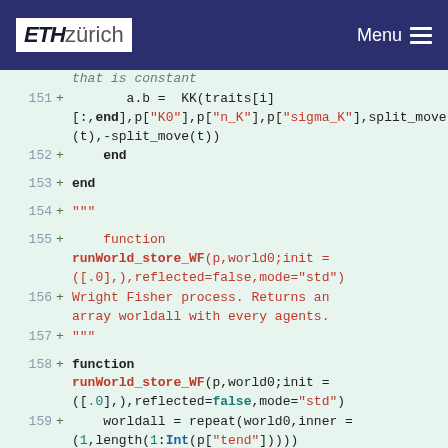ETH zürich | Menu
that is constant
151  +        a.b =  KK(traits[i][:,end],p["K0"],p["n_K"],p["sigma_K"],split_move(t),-split_move(t))
152  +     end
153  + end
154  + """
155  +     function runWorld_store_WF(p,world0;init = ([.0],),reflected=false,mode="std")
156  + Wright Fisher process. Returns an array worldall with every agents.
157  + """
158  + function runWorld_store_WF(p,world0;init = ([.0],),reflected=false,mode="std")
159  +     worldall = repeat(world0,inner = (1,length(1:Int(p["tend"]))))
160  +     N=length(world0);
161  +     C = SharedArray{Float64}((N,N));